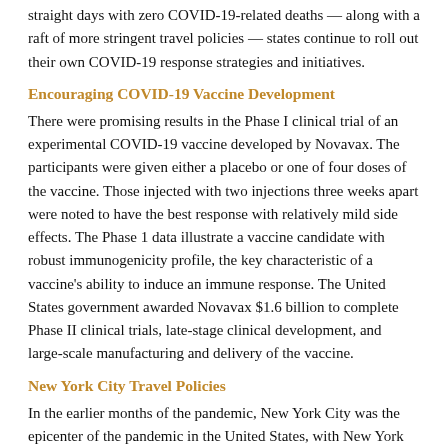straight days with zero COVID-19-related deaths — along with a raft of more stringent travel policies — states continue to roll out their own COVID-19 response strategies and initiatives.
Encouraging COVID-19 Vaccine Development
There were promising results in the Phase I clinical trial of an experimental COVID-19 vaccine developed by Novavax. The participants were given either a placebo or one of four doses of the vaccine. Those injected with two injections three weeks apart were noted to have the best response with relatively mild side effects. The Phase 1 data illustrate a vaccine candidate with robust immunogenicity profile, the key characteristic of a vaccine's ability to induce an immune response. The United States government awarded Novavax $1.6 billion to complete Phase II clinical trials, late-stage clinical development, and large-scale manufacturing and delivery of the vaccine.
New York City Travel Policies
In the earlier months of the pandemic, New York City was the epicenter of the pandemic in the United States, with New York having nearly half of the United States cases and with more than half of those cases being from NYC alone. On Tuesday, New York Governor Cuomo announced no COVID-19-related deaths reported